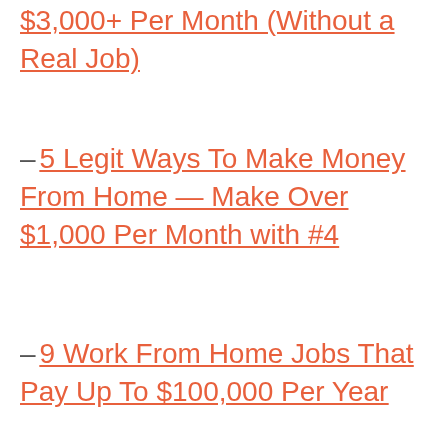$3,000+ Per Month (Without a Real Job)
– 5 Legit Ways To Make Money From Home — Make Over $1,000 Per Month with #4
– 9 Work From Home Jobs That Pay Up To $100,000 Per Year